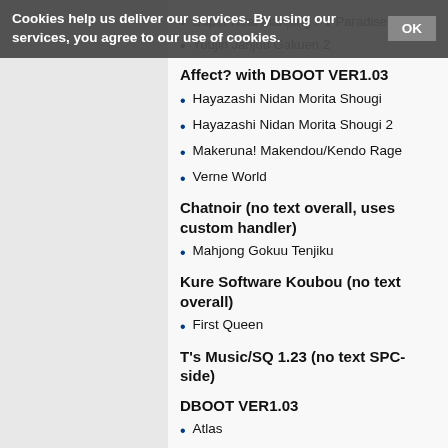Cookies help us deliver our services. By using our services, you agree to our use of cookies. OK
Super Real Mahjong PV Paradise
Yuujin Janjuu Gakuen 2
Affect? with DBOOT VER1.03
Hayazashi Nidan Morita Shougi
Hayazashi Nidan Morita Shougi 2
Makeruna! Makendou/Kendo Rage
Verne World
Chatnoir (no text overall, uses custom handler)
Mahjong Gokuu Tenjiku
Kure Software Koubou (no text overall)
First Queen
T's Music/SQ 1.23 (no text SPC-side)
DBOOT VER1.03
Atlas